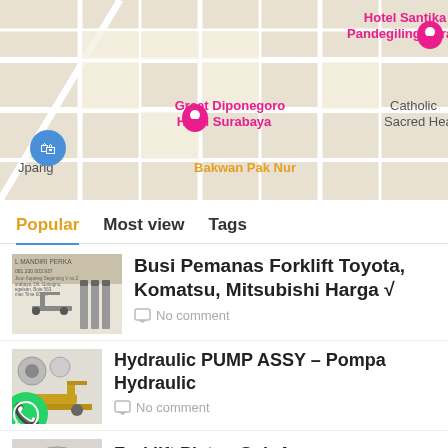[Figure (screenshot): Google Maps screenshot showing Hotel Santika Pandegiling Surabaya, Great Diponegoro Hotel Surabaya, Catholic Sacred Heart, Bakwan Pak Nur, and other locations in Surabaya]
Popular  Most view  Tags
[Figure (photo): Thumbnail image of forklift glow plugs / busi pemanas product by Mandiri Perka]
Busi Pemanas Forklift Toyota, Komatsu, Mitsubishi Harga √
No comment
[Figure (photo): Thumbnail image of hydraulic pump and forklift]
Hydraulic PUMP ASSY – Pompa Hydraulic
No comment
[Figure (photo): Thumbnail image of a piston part]
Forklift Piston Sub Assy
No comment